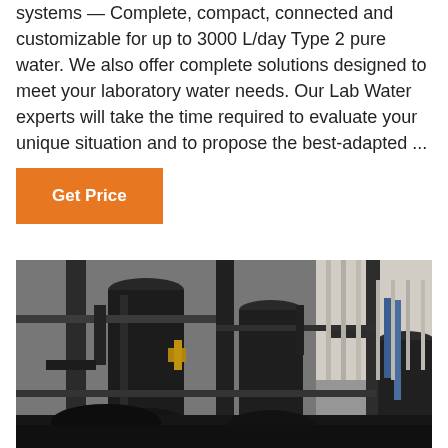systems — Complete, compact, connected and customizable for up to 3000 L/day Type 2 pure water. We also offer complete solutions designed to meet your laboratory water needs. Our Lab Water experts will take the time required to evaluate your unique situation and to propose the best-adapted ...
Get Price
[Figure (photo): Close-up photograph of laboratory water purification system equipment showing black cylindrical filters, pipes, fittings and tubing components on a metal frame]